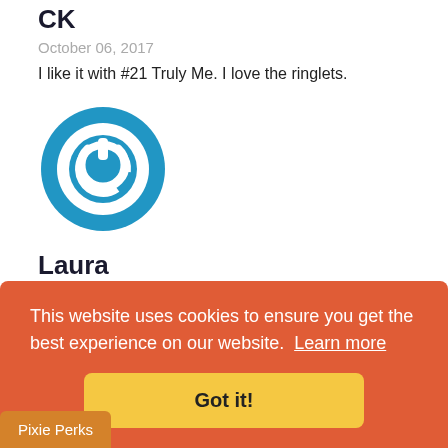CK
October 06, 2017
I like it with #21 Truly Me. I love the ringlets.
[Figure (logo): Blue circular power button / user avatar icon]
Laura
October 06, 2017
Hw... (partially visible comment text)
This website uses cookies to ensure you get the best experience on our website. Learn more
Got it!
Pixie Perks